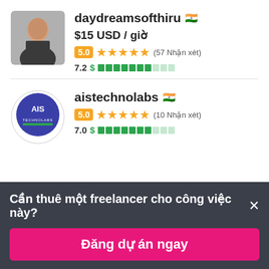[Figure (photo): Profile photo of daydreamsofthiru, a person in dark clothing]
daydreamsofthiru 🇮🇳
$15 USD / giờ
5.0 ★★★★★ (57 Nhận xét)
7.2 $ ████████░░░
[Figure (logo): AIS Technolabs circular logo with blue background]
aistechnolabs 🇮🇳
5.0 ★★★★★ (10 Nhận xét)
7.0 $ ████████░░░
Cần thuê một freelancer cho công việc này? ×
Đăng dự án ngay